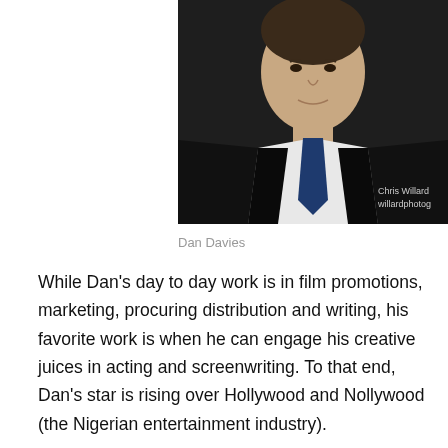[Figure (photo): Portrait photo of Dan Davies in a dark suit with a blue tie and white shirt. Photo credit: Chris Willard / willardphoto]
Dan Davies
While Dan's day to day work is in film promotions, marketing, procuring distribution and writing, his favorite work is when he can engage his creative juices in acting and screenwriting. To that end, Dan's star is rising over Hollywood and Nollywood (the Nigerian entertainment industry).
Dan's most recent work (before Tempting Fate) is in the movie West of Thunder. (Watch trailer.)  Dan co-wrote and stars in this film, a film selected in three 2012 film festivals: Toronto Independent FF, the American Indian FF, and the